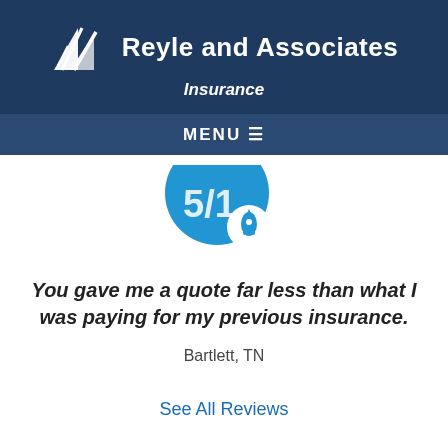[Figure (logo): Reyle and Associates Insurance logo with white sailing/wave graphic and company name in white text on dark navy background]
[Figure (infographic): Blue circle icon with a smaller white circle containing a rocket/person icon, partially cropped at top]
You gave me a quote far less than what I was paying for my previous insurance.
Bartlett, TN
See All Reviews